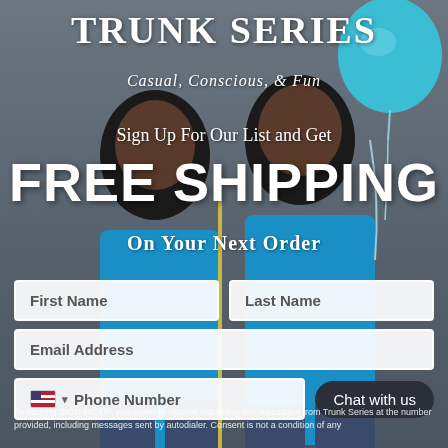[Figure (photo): Two Black women wearing bright blue t-shirts smiling, one holding balloons, photographed against a light gray background. A teal balloon is visible top right.]
TRUNK SERIES
Casual, Conscious, & Fun
Sign Up For Our List and Get
FREE SHIPPING
On Your Next Order
First Name
Last Name
Email Address
Phone Number
Chat with us
By clicking SIGN ME UP, you agree to receive marketing text messages from Trunk Series at the number provided, including messages sent by autodialer. Consent is not a condition of any